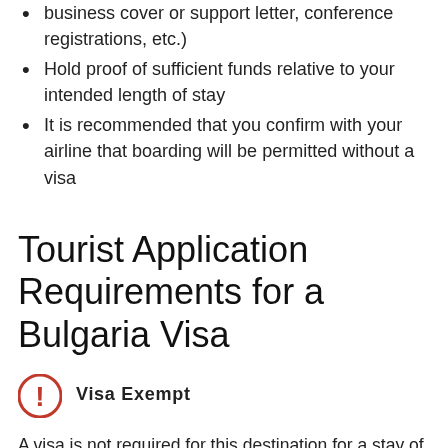business cover or support letter, conference registrations, etc.)
Hold proof of sufficient funds relative to your intended length of stay
It is recommended that you confirm with your airline that boarding will be permitted without a visa
Tourist Application Requirements for a Bulgaria Visa
Visa Exempt
A visa is not required for this destination for a stay of up to 90 days in any 180 day period. Please keep in mind that while a visa is not required, you must:
Hold a passport valid for at least six months beyond your